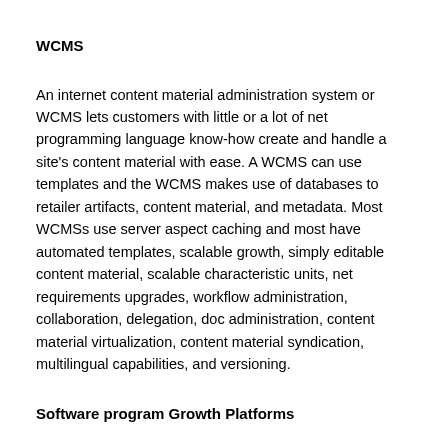WCMS
An internet content material administration system or WCMS lets customers with little or a lot of net programming language know-how create and handle a site's content material with ease. A WCMS can use templates and the WCMS makes use of databases to retailer artifacts, content material, and metadata. Most WCMSs use server aspect caching and most have automated templates, scalable growth, simply editable content material, scalable characteristic units, net requirements upgrades, workflow administration, collaboration, delegation, doc administration, content material virtualization, content material syndication, multilingual capabilities, and versioning.
Software program Growth Platforms